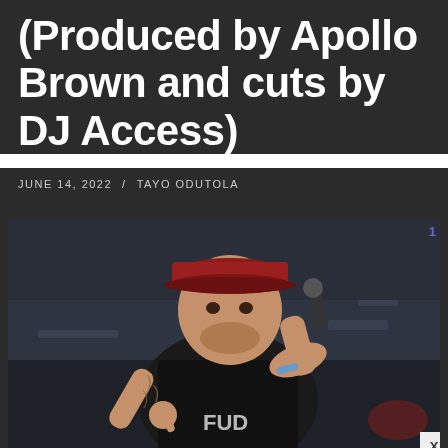(Produced by Apollo Brown and cuts by DJ Access)
JUNE 14, 2022 / TAYO ODUTOLA
[Figure (photo): A tattooed male performer wearing a red cap and black t-shirt, holding a microphone up to his mouth and pointing with his other hand, performing on stage outdoors.]